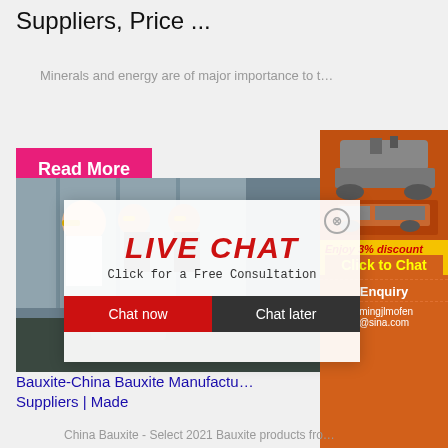Suppliers, Price ...
Minerals and energy are of major importance to t…
[Figure (screenshot): Pink 'Read More' button]
[Figure (photo): Workers in yellow hard hats with live chat overlay showing LIVE CHAT, Click for a Free Consultation, Chat now and Chat later buttons]
[Figure (photo): Right sidebar advertisement with orange background showing mining machinery images, 'Enjoy 3% discount', 'Click to Chat' text, Enquiry section and limingjlmofen@sina.com email]
Bauxite-China Bauxite Manufactu… Suppliers | Made
China Bauxite - Select 2021 Bauxite products fro…